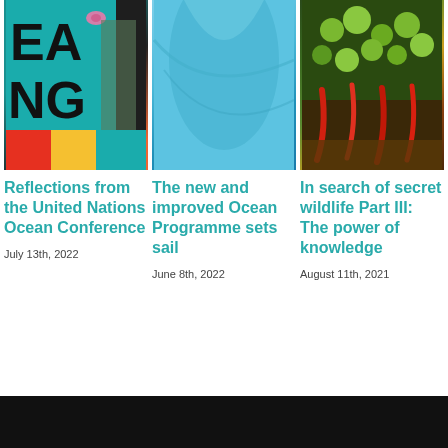[Figure (photo): Photo of a protest sign with teal 'EA' and 'ING' letters visible, with red and orange elements at the bottom, people in background]
[Figure (photo): Close-up photo of a blue dolphin or whale skin surface]
[Figure (photo): Close-up photo of green fruits/berries and red chili peppers with soil/mud]
Reflections from the United Nations Ocean Conference
July 13th, 2022
The new and improved Ocean Programme sets sail
June 8th, 2022
In search of secret wildlife Part III: The power of knowledge
August 11th, 2021